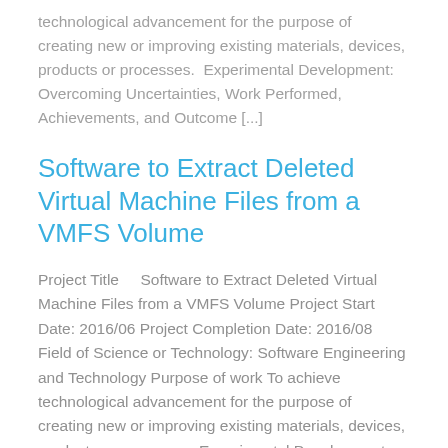technological advancement for the purpose of creating new or improving existing materials, devices, products or processes.  Experimental Development: Overcoming Uncertainties, Work Performed, Achievements, and Outcome [...]
Software to Extract Deleted Virtual Machine Files from a VMFS Volume
Project Title    Software to Extract Deleted Virtual Machine Files from a VMFS Volume Project Start Date: 2016/06 Project Completion Date: 2016/08 Field of Science or Technology: Software Engineering and Technology Purpose of work To achieve technological advancement for the purpose of creating new or improving existing materials, devices, products or processes. Experimental Development: Overcoming Uncertainties, Work [...]
Data Recovery Research &